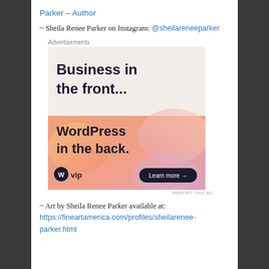Parker – Author
~ Sheila Renee Parker on Instagram: @sheilareneeparker
[Figure (advertisement): WordPress VIP advertisement. Top half: light gray/beige background with bold text 'Business in the front...'. Bottom half: orange/pink gradient background with text 'WordPress in the back.' and 'W vip' logo with 'Learn more →' dark pill button.]
~ Art by Sheila Renee Parker available at: https://fineartamerica.com/profiles/sheilarenee-parker.html